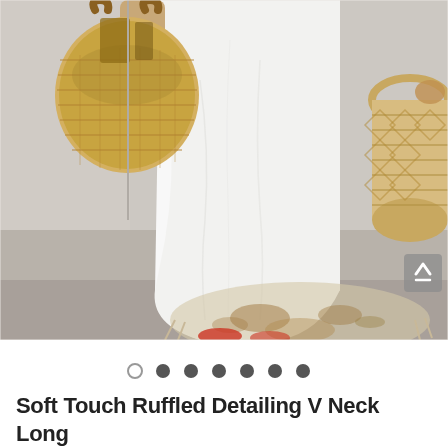[Figure (photo): A person wearing a white long maxi dress holding a woven straw tote bag in an interior setting with a wicker basket/side table and cowhide rug on the floor.]
[Figure (other): Carousel navigation dots: 7 dots total, first dot is outlined (empty/current), dots 2-7 are filled dark.]
Soft Touch Ruffled Detailing V Neck Long